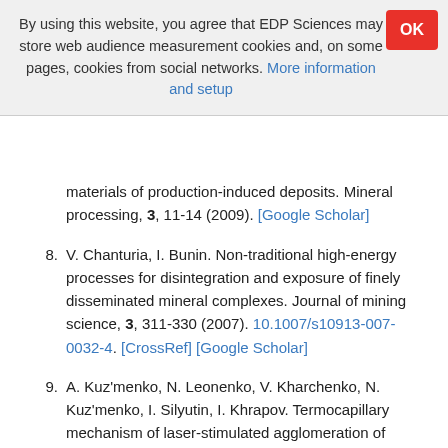By using this website, you agree that EDP Sciences may store web audience measurement cookies and, on some pages, cookies from social networks. More information and setup
materials of production-induced deposits. Mineral processing, 3, 11-14 (2009). [Google Scholar]
8. V. Chanturia, I. Bunin. Non-traditional high-energy processes for disintegration and exposure of finely disseminated mineral complexes. Journal of mining science, 3, 311-330 (2007). 10.1007/s10913-007-0032-4. [CrossRef] [Google Scholar]
9. A. Kuz'menko, N. Leonenko, V. Kharchenko, N. Kuz'menko, I. Silyutin, I. Khrapov. Termocapillary mechanism of laser-stimulated agglomeration of ultreadisperse and colloidal-ionicdold, Technical Physics Letters, 35(9), 837-840 (2009) [CrossRef] [Google Scholar]
10. N. Leonenko, E. Vanina, E. Veselova, G. Kapustina.